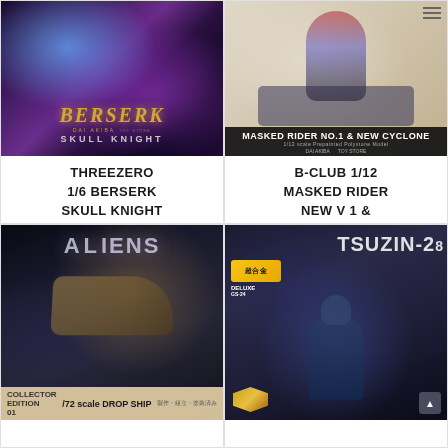[Figure (photo): Product image of Threezero 1/6 Berserk Skull Knight figure with dark purple/blue dramatic lighting and gold BERSERK text overlay with skull logo]
THREEZERO 1/6 BERSERK SKULL KNIGHT
[Figure (photo): Product box image of B-Club 1/12 Masked Rider No.1 & New Cyclone prepainted polystone model with motorcycle, DAI AKIBA TOY STORE label]
B-CLUB 1/12 MASKED RIDER NEW V 1 & NEW CYCLONE POLYSTORE
[Figure (photo): Product box image of Aliens 1/72 scale Drop Ship model kit with dark sci-fi artwork showing the drop ship vehicle]
[Figure (photo): Product image of TETSUZIN-28 chogokin deluxe figure with dark blue packaging and yellow 超合金 badge]